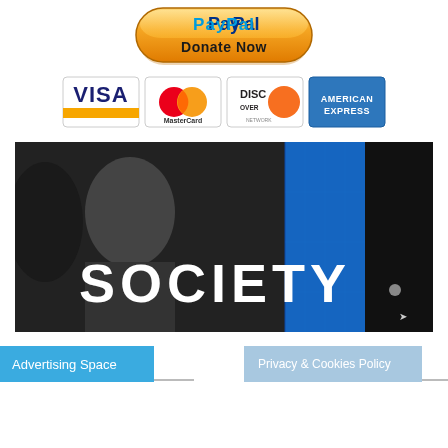[Figure (logo): PayPal Donate Now button with orange gradient rounded rectangle and PayPal logo in blue]
[Figure (logo): Four payment card logos in a row: Visa, MasterCard, Discover Network, American Express]
[Figure (photo): Black and white photo of a woman with short hair and a scarf, overlaid with blue stripe and bold white text reading SOCIETY]
Advertising Space
Privacy & Cookies Policy